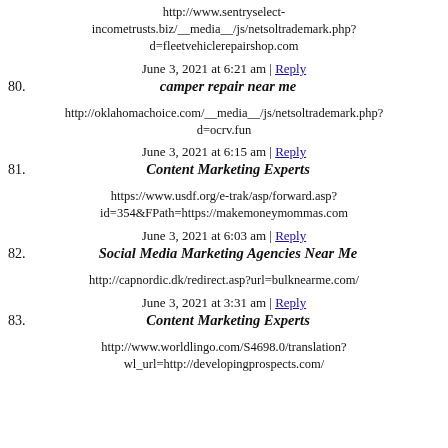http://www.sentryselect-incometrusts.biz/__media__/js/netsoltrademark.php?d=fleetvehiclerepairshop.com
June 3, 2021 at 6:21 am | Reply
80. camper repair near me
http://oklahomachoice.com/__media__/js/netsoltrademark.php?d=ocrv.fun
June 3, 2021 at 6:15 am | Reply
81. Content Marketing Experts
https://www.usdf.org/e-trak/asp/forward.asp?id=354&FPath=https://makemoneymommas.com
June 3, 2021 at 6:03 am | Reply
82. Social Media Marketing Agencies Near Me
http://capnordic.dk/redirect.asp?url=bulknearme.com/
June 3, 2021 at 3:31 am | Reply
83. Content Marketing Experts
http://www.worldlingo.com/S4698.0/translation?wl_url=http://developingprospects.com/